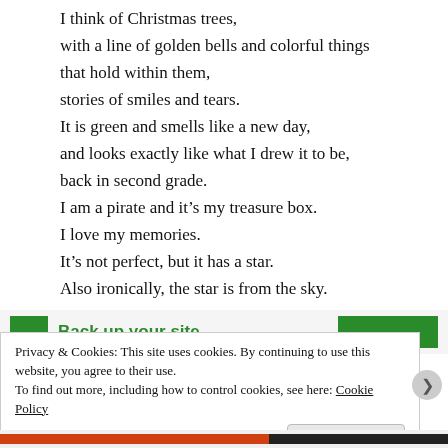I think of Christmas trees,
with a line of golden bells and colorful things
that hold within them,
stories of smiles and tears.
It is green and smells like a new day,
and looks exactly like what I drew it to be,
back in second grade.
I am a pirate and it’s my treasure box.
I love my memories.
It’s not perfect, but it has a star.
Also ironically, the star is from the sky.
[Figure (other): Green advertisement banner reading 'Back up your site' with green rectangles on either side]
Privacy & Cookies: This site uses cookies. By continuing to use this website, you agree to their use.
To find out more, including how to control cookies, see here: Cookie Policy
Close and accept